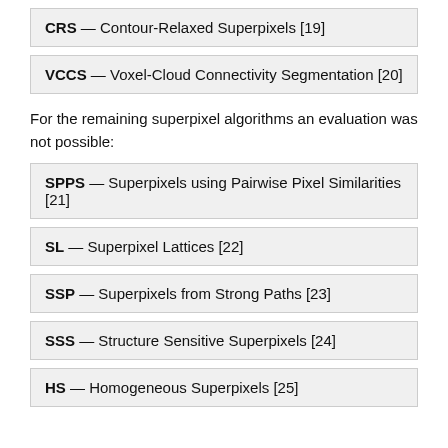CRS — Contour-Relaxed Superpixels [19]
VCCS — Voxel-Cloud Connectivity Segmentation [20]
For the remaining superpixel algorithms an evaluation was not possible:
SPPS — Superpixels using Pairwise Pixel Similarities [21]
SL — Superpixel Lattices [22]
SSP — Superpixels from Strong Paths [23]
SSS — Structure Sensitive Superpixels [24]
HS — Homogeneous Superpixels [25]